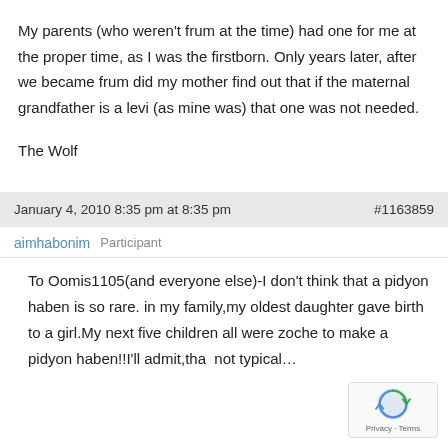My parents (who weren't frum at the time) had one for me at the proper time, as I was the firstborn. Only years later, after we became frum did my mother find out that if the maternal grandfather is a levi (as mine was) that one was not needed.
The Wolf
January 4, 2010 8:35 pm at 8:35 pm    #1163859
aimhabonim   Participant
To Oomis1105(and everyone else)-I don't think that a pidyon haben is so rare. in my family,my oldest daughter gave birth to a girl.My next five children all were zoche to make a pidyon haben!!I'll admit,that not typical…